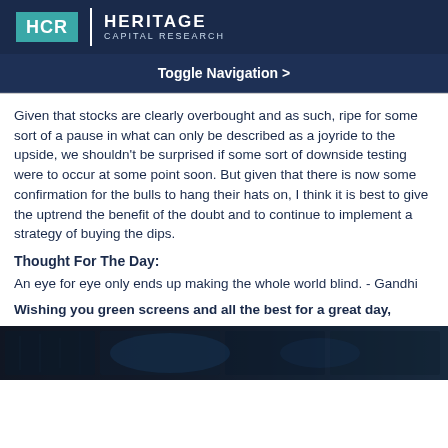HCR | HERITAGE CAPITAL RESEARCH
Toggle Navigation >
Given that stocks are clearly overbought and as such, ripe for some sort of a pause in what can only be described as a joyride to the upside, we shouldn't be surprised if some sort of downside testing were to occur at some point soon. But given that there is now some confirmation for the bulls to hang their hats on, I think it is best to give the uptrend the benefit of the doubt and to continue to implement a strategy of buying the dips.
Thought For The Day:
An eye for eye only ends up making the whole world blind. - Gandhi
Wishing you green screens and all the best for a great day,
[Figure (photo): Dark background image showing financial screens or monitors]